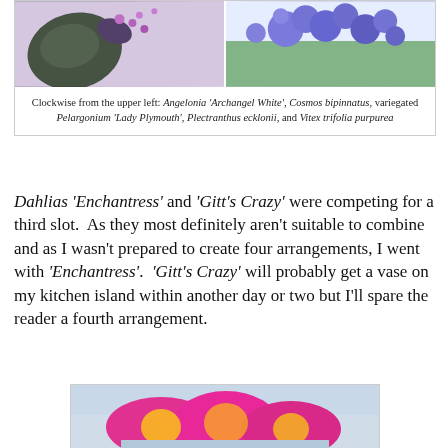[Figure (photo): Two flower photographs side by side: left shows dark green leaves with purple flowers, right shows bright purple/violet flower clusters against green foliage]
Clockwise from the upper left: Angelonia 'Archangel White', Cosmos bipinnatus, variegated Pelargonium 'Lady Plymouth', Plectranthus ecklonii, and Vitex trifolia purpurea
Dahlias 'Enchantress' and 'Gitt's Crazy' were competing for a third slot.  As they most definitely aren't suitable to combine and as I wasn't prepared to create four arrangements, I went with 'Enchantress'.  'Gitt's Crazy' will probably get a vase on my kitchen island within another day or two but I'll spare the reader a fourth arrangement.
[Figure (photo): Photo of pink dahlia flowers ('Gitt's Crazy') with magenta and white petals in a vase on a kitchen island]